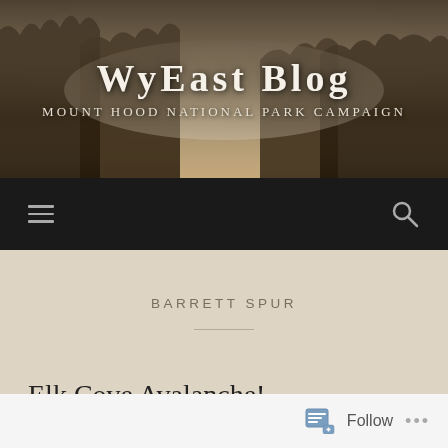WyEast Blog — Mount Hood National Park Campaign
BARRETT SPUR
Elk Cove Avalanche!
August 31, 2021 / 5 Comments
Follow